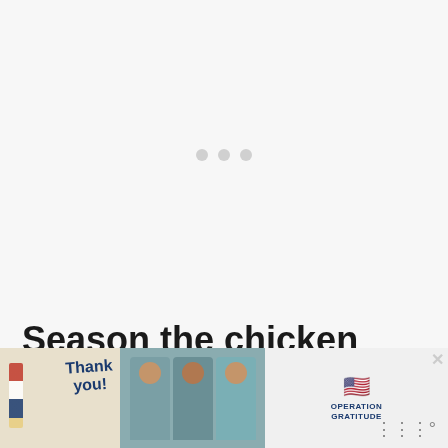[Figure (other): Large blank/loading image area with three small gray dots centered, indicating a loading placeholder for a video or image slideshow]
Season the chicken
Grab your chicken and close. Rinse the chicken under cold water...
[Figure (photo): Advertisement banner: Thank You note with American flag star on left, photo of three people wearing masks and medical gear in center, Operation Gratitude logo on right, with a close button]